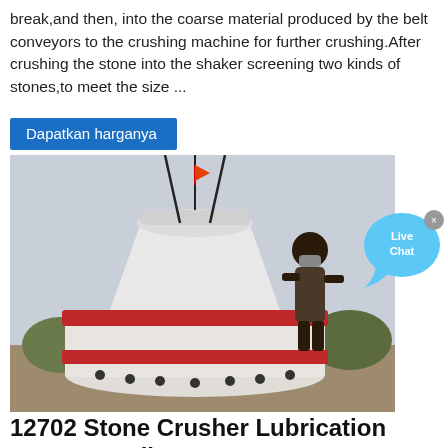break,and then, into the coarse material produced by the belt conveyors to the crushing machine for further crushing.After crushing the stone into the shaker screening two kinds of stones,to meet the size ...
Dapatkan harganya
[Figure (photo): A large white and red stone crusher machine being operated by a worker in India]
[Figure (other): Live Chat button bubble in cyan/blue]
12702 Stone Crusher Lubrication Pump In India
Stone Crusher Lubrication Pump In India; Get Price And Support Online; Stone crusher machine used for Stone Crushing plant in India. Stone crusher machine used for Stone Crushing plant in India. In the stone crushing plant in India,